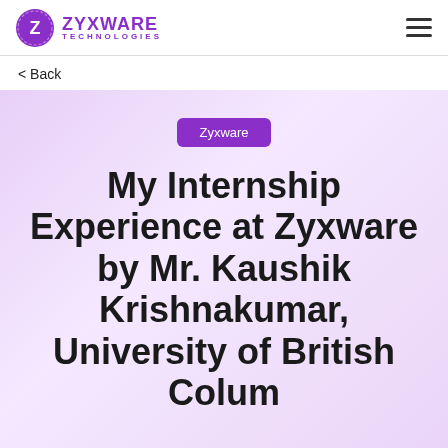ZYXWARE TECHNOLOGIES
< Back
Zyxware
My Internship Experience at Zyxware by Mr. Kaushik Krishnakumar, University of British Columbia